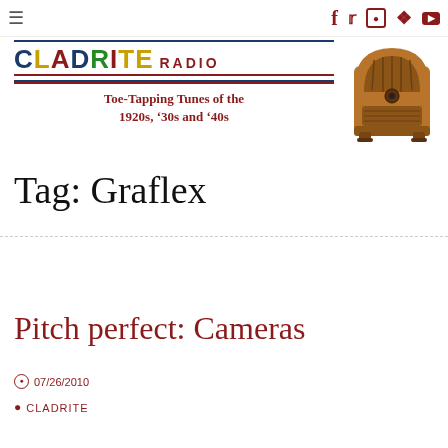≡ (navigation) | social icons: f, twitter, instagram, pinterest, youtube
[Figure (logo): Cladrite Radio logo with colorful lettering and tagline 'Toe-Tapping Tunes of the 1920s, '30s and '40s']
[Figure (illustration): Vintage wooden cathedral radio illustration]
Tag: Graflex
Pitch perfect: Cameras
07/26/2010
CLADRITE